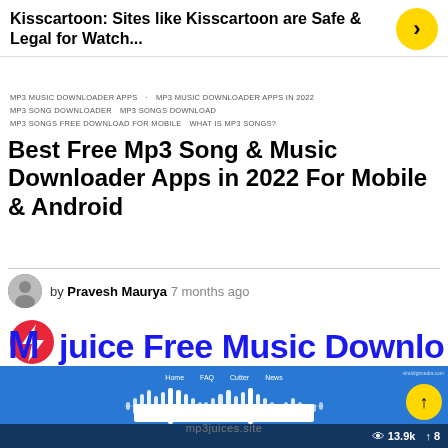Kisscartoon: Sites like Kisscartoon are Safe & Legal for Watch...
MP3 MUSIC DOWNLOADER APPS · MP3 MUSIC DOWNLOADER APPS IN 2022 · MP3 SONG DOWNLOADER · MP3 SONGS DOWNLOAD · MP3 SONGS FREE DOWNLOAD FOR MOBILE · WHAT IS MP3 SONGS?
Best Free Mp3 Song & Music Downloader Apps in 2022 For Mobile & Android
by Pravesh Maurya 7 months ago
[Figure (logo): Mp3juice Free Music Download logo with red circle and lightning bolt icon]
[Figure (screenshot): Screenshot of mp3juices.site website with blue background, navigation links (Home, FAQ, Cutter, News), audio waveform graphic, domain name mp3juices.site, and a search bar at the bottom]